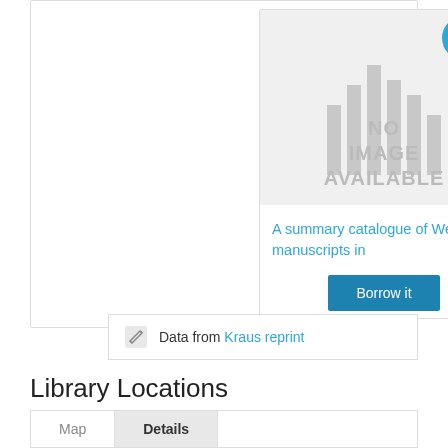[Figure (illustration): Book cover placeholder showing 'NO IMAGE AVAILABLE' with grey bars and a blue circular book icon badge in the top-right corner]
A summary catalogue of Western manuscripts in
Borrow it
Data from Kraus reprint
Library Locations
Map  Details